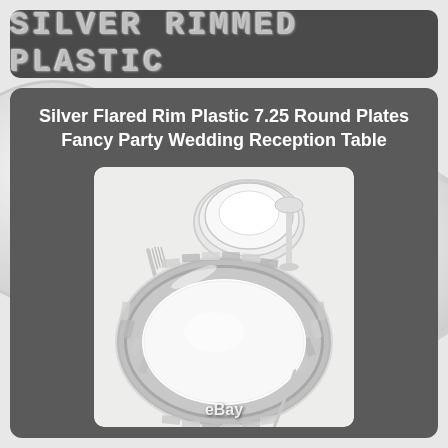Silver Rimmed Plastic
Silver Flared Rim Plastic 7.25 Round Plates Fancy Party Wedding Reception Table
[Figure (photo): Silver flared rim plastic plate (7.25") with decorative silver rimmed edge, shown on a white table setting with forks, silverware, and stacked plates in the background. eBay watermark at bottom.]